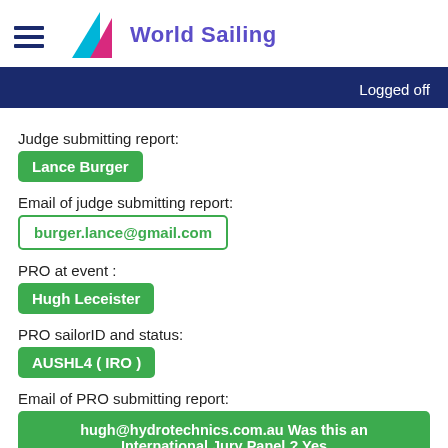World Sailing
Logged off
Judge submitting report:
Lance Burger
Email of judge submitting report:
burger.lance@gmail.com
PRO at event :
Hugh Leceister
PRO sailorID and status:
AUSHL4 ( IRO )
Email of PRO submitting report:
hugh@hydrotechnics.com.au Was this an International Jury Panel ? Yes